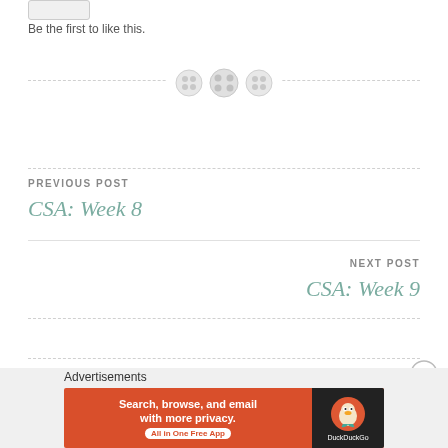Be the first to like this.
[Figure (illustration): Three decorative button icons on a dashed horizontal divider line]
PREVIOUS POST
CSA: Week 8
NEXT POST
CSA: Week 9
Advertisements
[Figure (screenshot): DuckDuckGo advertisement banner: Search, browse, and email with more privacy. All in One Free App]